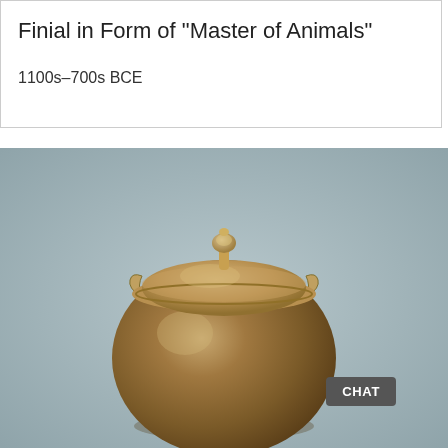Finial in Form of "Master of Animals"
1100s–700s BCE
[Figure (photo): A ceramic lidded jar with a brown-olive glaze. The round-bodied vessel has small loop handles at the shoulder and is topped with a flat circular lid featuring a small knob finial at the top. The background is a muted blue-grey.]
CHAT